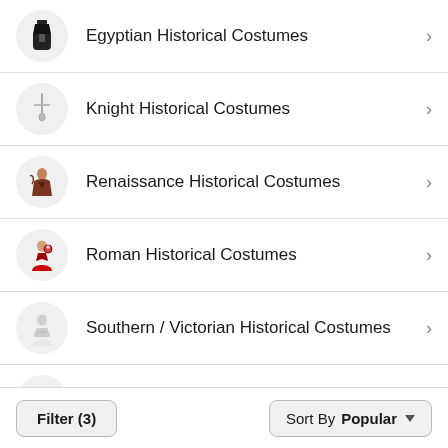Egyptian Historical Costumes
Knight Historical Costumes
Renaissance Historical Costumes
Roman Historical Costumes
Southern / Victorian Historical Costumes
Viking Historical Costumes
More Themes ∨
Filter (3)   Sort By Popular